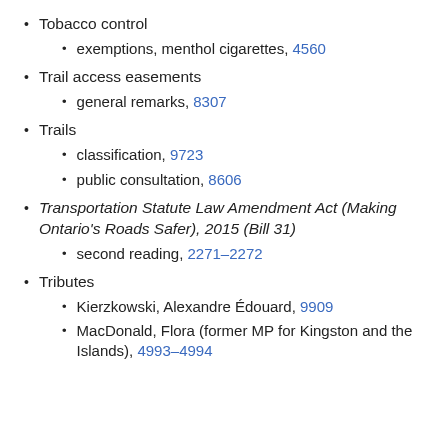Tobacco control
exemptions, menthol cigarettes, 4560
Trail access easements
general remarks, 8307
Trails
classification, 9723
public consultation, 8606
Transportation Statute Law Amendment Act (Making Ontario's Roads Safer), 2015 (Bill 31)
second reading, 2271–2272
Tributes
Kierzkowski, Alexandre Édouard, 9909
MacDonald, Flora (former MP for Kingston and the Islands), 4993–4994